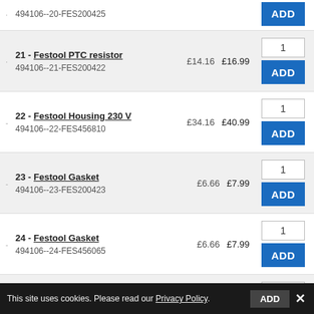494106--20-FES200425 | ADD
21 - Festool PTC resistor | 494106--21-FES200422 | £14.16 | £16.99 | ADD
22 - Festool Housing 230 V | 494106--22-FES456810 | £34.16 | £40.99 | ADD
23 - Festool Gasket | 494106--23-FES200423 | £6.66 | £7.99 | ADD
24 - Festool Gasket | 494106--24-FES456065 | £6.66 | £7.99 | ADD
25 - Festool Gasket | ADD
This site uses cookies. Please read our Privacy Policy.